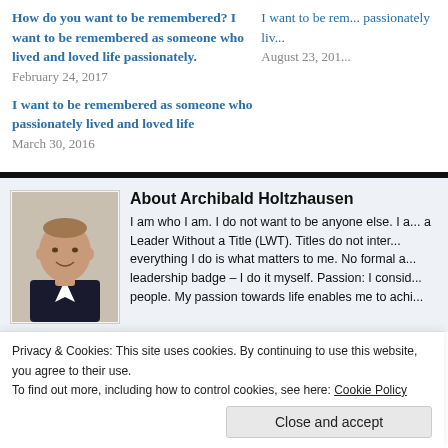How do you want to be remembered? I want to be remembered as someone who lived and loved life passionately.
February 24, 2017
I want to be remembered as someone who passionately lived and loved life
August 23, 2015
I want to be remembered as someone who passionately lived and loved life
March 30, 2016
About Archibald Holtzhausen
I am who I am. I do not want to be anyone else. I a... a Leader Without a Title (LWT). Titles do not inter... everything I do is what matters to me. No formal a... leadership badge – I do it myself. Passion: I consid... people. My passion towards life enables me to achi...
Privacy & Cookies: This site uses cookies. By continuing to use this website, you agree to their use.
To find out more, including how to control cookies, see here: Cookie Policy
Close and accept